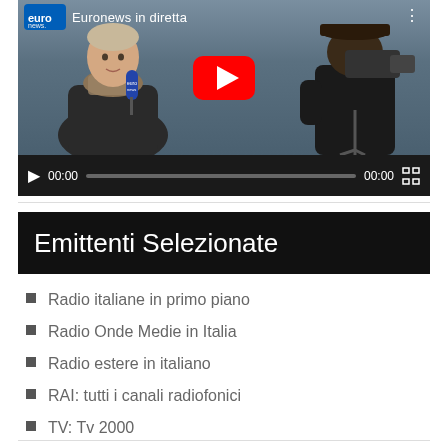[Figure (screenshot): YouTube video player showing Euronews in diretta broadcast with a reporter holding a microphone and a cameraman in the background. Video controls show 00:00 timestamps.]
Emittenti Selezionate
Radio italiane in primo piano
Radio Onde Medie in Italia
Radio estere in italiano
RAI: tutti i canali radiofonici
TV: Tv 2000